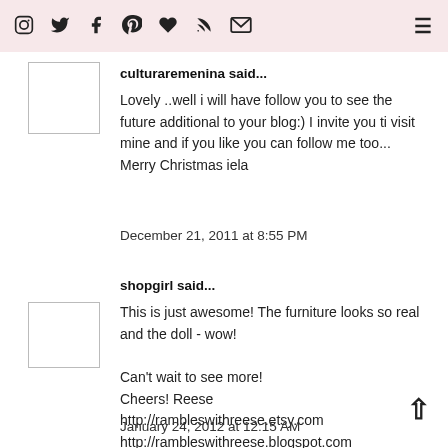Instagram Twitter Facebook Pinterest Heart RSS Email [hamburger menu]
culturaremenina said...
Lovely ..well i will have follow you to see the future additional to your blog:) I invite you ti visit mine and if you like you can follow me too... Merry Christmas iela
December 21, 2011 at 8:55 PM
shopgirl said...
This is just awesome! The furniture looks so real and the doll - wow!

Can't wait to see more!
Cheers! Reese
http://rambleswithreese.etsy.com
http://rambleswithreese.blogspot.com
January 24, 2012 at 12:15 AM